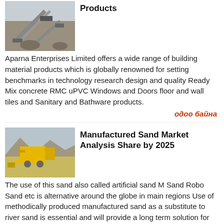[Figure (photo): Aerial view of a quarry or construction site with conveyor belts and machinery]
Products
Aparna Enterprises Limited offers a wide range of building material products which is globally renowned for setting benchmarks in technology research design and quality Ready Mix concrete RMC uPVC Windows and Doors floor and wall tiles and Sanitary and Bathware products.
одоо байна
[Figure (photo): Yellow sand manufacturing machinery at a quarry site]
Manufactured Sand Market Analysis Share by 2025
The use of this sand also called artificial sand M Sand Robo Sand etc is alternative around the globe in main regions Use of methodically produced manufactured sand as a substitute to river sand is essential and will provide a long term solution for the problem of lack of natural sand to the global construction industry.
одоо байна
[Figure (photo): Industrial construction machinery, dark colored crusher or grinder equipment]
#1 Go to Construction you can Rely on